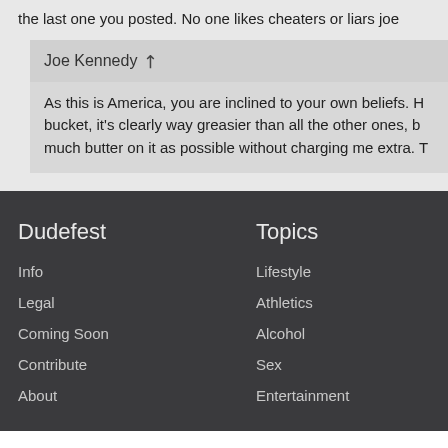the last one you posted. No one likes cheaters or liars joe
Joe Kennedy
As this is America, you are inclined to your own beliefs. H bucket, it's clearly way greasier than all the other ones, b much butter on it as possible without charging me extra. T
Dudefest
Info
Legal
Coming Soon
Contribute
About
Topics
Lifestyle
Athletics
Alcohol
Sex
Entertainment